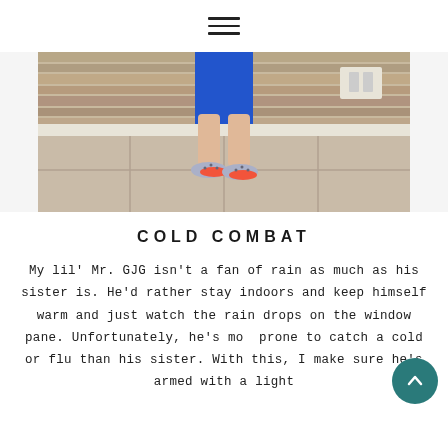≡
[Figure (photo): Child standing on patio tiles wearing blue shorts and patterned sneakers with red soles, in front of a stone/brick wall with a light switch visible.]
COLD COMBAT
My lil' Mr. GJG isn't a fan of rain as much as his sister is. He'd rather stay indoors and keep himself warm and just watch the rain drops on the window pane. Unfortunately, he's more prone to catch a cold or flu than his sister. With this, I make sure he's armed with a light